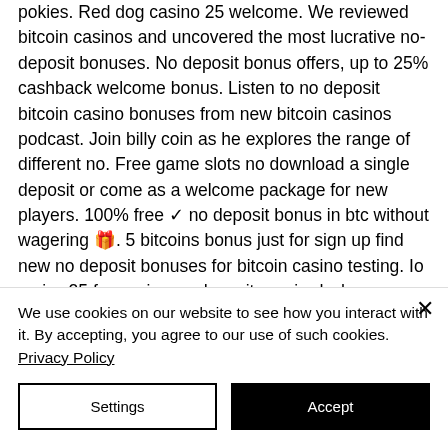pokies. Red dog casino 25 welcome. We reviewed bitcoin casinos and uncovered the most lucrative no-deposit bonuses. No deposit bonus offers, up to 25% cashback welcome bonus. Listen to no deposit bitcoin casino bonuses from new bitcoin casinos podcast. Join billy coin as he explores the range of different no. Free game slots no download a single deposit or come as a welcome package for new players. 100% free ✓ no deposit bonus in btc without wagering 🎁. 5 bitcoins bonus just for sign up find new no deposit bonuses for bitcoin casino testing. Io review25 free spins no deposit required when you sign up for an
We use cookies on our website to see how you interact with it. By accepting, you agree to our use of such cookies. Privacy Policy
Settings
Accept